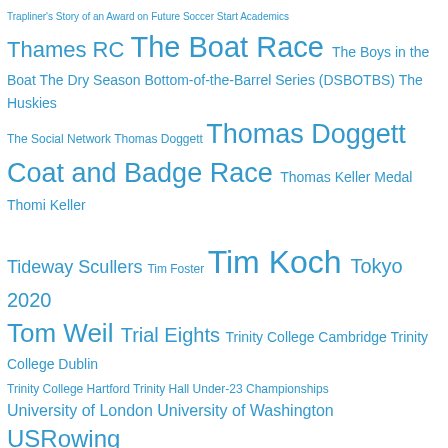Thames RC The Boat Race The Boys in the Boat The Dry Season Bottom-of-the-Barrel Series (DSBOTBS) The Huskies The Social Network Thomas Doggett Thomas Doggett Coat and Badge Race Thomas Keller Medal Thomi Keller Tideway Scullers Tim Foster Tim Koch Tokyo 2020 Tom Weil Trial Eights Trinity College Cambridge Trinity College Dublin Trinity College Hartford Trinity Hall Under-23 Championships University of London University of Washington USRowing Vesper BC Vesta RC W.B. Woodgate Wally Kinnear war War Memorials Watermen Well-Dressed Gents Westminster School William O'Chee Wingfield Sculls Winston Churchill Women's Boat Race Women Rowing wooden boats World Junior Championships World Rowing World Rowing